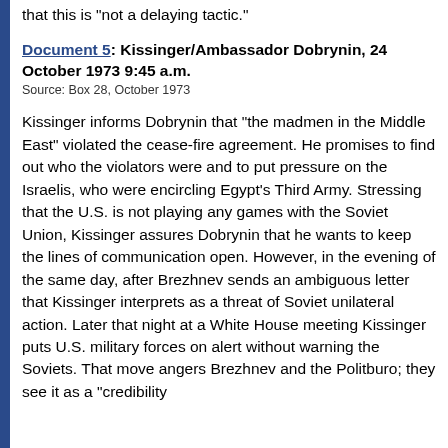that this is "not a delaying tactic."
Document 5: Kissinger/Ambassador Dobrynin, 24 October 1973 9:45 a.m.
Source: Box 28, October 1973
Kissinger informs Dobrynin that "the madmen in the Middle East" violated the cease-fire agreement. He promises to find out who the violators were and to put pressure on the Israelis, who were encircling Egypt's Third Army. Stressing that the U.S. is not playing any games with the Soviet Union, Kissinger assures Dobrynin that he wants to keep the lines of communication open. However, in the evening of the same day, after Brezhnev sends an ambiguous letter that Kissinger interprets as a threat of Soviet unilateral action. Later that night at a White House meeting Kissinger puts U.S. military forces on alert without warning the Soviets. That move angers Brezhnev and the Politburo; they see it as a "credibility